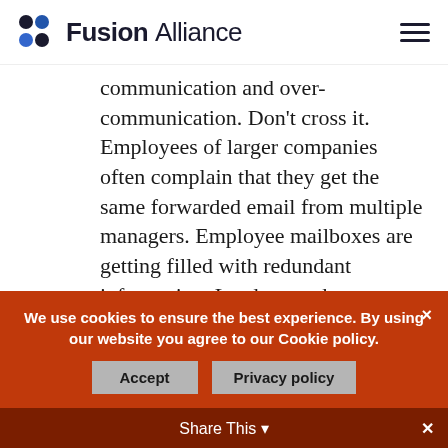Fusion Alliance
communication and over-communication. Don't cross it. Employees of larger companies often complain that they get the same forwarded email from multiple managers. Employee mailboxes are getting filled with redundant information. Leaders, make sure you send your messages to your entire intended audience to avoid overwhelming your teams with the
We use cookies to ensure the best experience. By using our website you agree to our Cookie policy.
Accept   Privacy policy
Share This